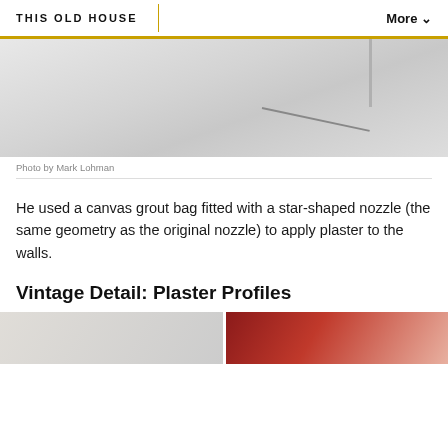THIS OLD HOUSE | More
[Figure (photo): Partial view of a white plastered wall corner with a thin vertical strip or material hanging from upper right]
Photo by Mark Lohman
He used a canvas grout bag fitted with a star-shaped nozzle (the same geometry as the original nozzle) to apply plaster to the walls.
Vintage Detail: Plaster Profiles
[Figure (photo): Bottom portion showing two side-by-side photos, left showing light plaster surface, right showing a person wearing red]